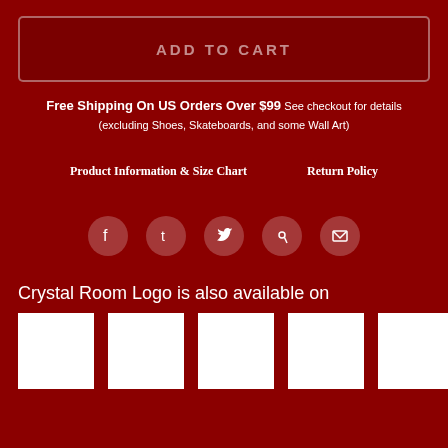ADD TO CART
Free Shipping On US Orders Over $99 See checkout for details (excluding Shoes, Skateboards, and some Wall Art)
Product Information & Size Chart
Return Policy
[Figure (other): Social media share icons: Facebook, Tumblr, Twitter, Pinterest, Email]
Crystal Room Logo is also available on
[Figure (other): Six white thumbnail product preview squares]